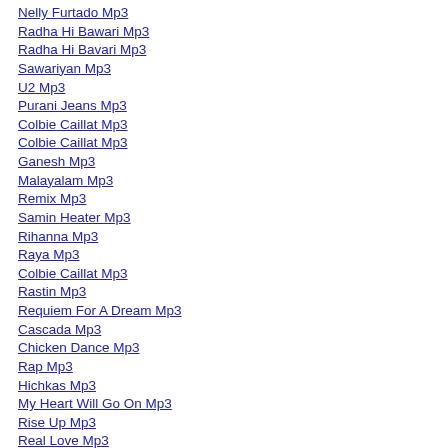Nelly Furtado Mp3
Radha Hi Bawari Mp3
Radha Hi Bavari Mp3
Sawariyan Mp3
U2 Mp3
Purani Jeans Mp3
Colbie Caillat Mp3
Colbie Caillat Mp3
Ganesh Mp3
Malayalam Mp3
Remix Mp3
Samin Heater Mp3
Rihanna Mp3
Raya Mp3
Colbie Caillat Mp3
Rastin Mp3
Requiem For A Dream Mp3
Cascada Mp3
Chicken Dance Mp3
Rap Mp3
Hichkas Mp3
My Heart Will Go On Mp3
Rise Up Mp3
Real Love Mp3
Raya Mp3